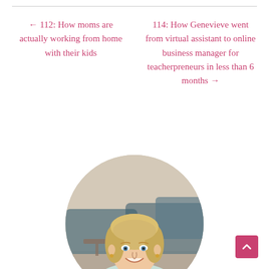← 112: How moms are actually working from home with their kids
114: How Genevieve went from virtual assistant to online business manager for teacherpreneurs in less than 6 months →
[Figure (photo): Circular portrait photo of a smiling blonde woman in a light-colored top, seated in a room with blurred blue furniture in the background.]